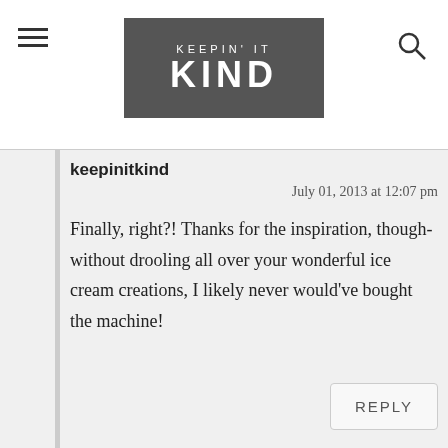KEEPIN' IT KIND
keepinitkind
July 01, 2013 at 12:07 pm
Finally, right?! Thanks for the inspiration, though- without drooling all over your wonderful ice cream creations, I likely never would've bought the machine!
REPLY